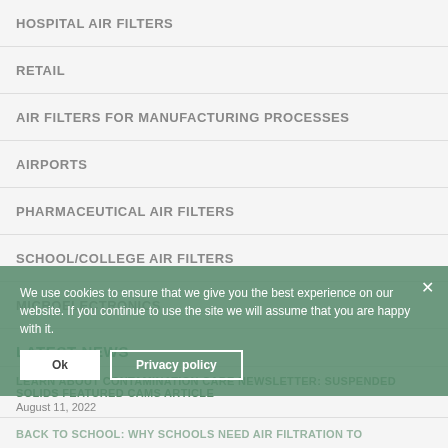HOSPITAL AIR FILTERS
RETAIL
AIR FILTERS FOR MANUFACTURING PROCESSES
AIRPORTS
PHARMACEUTICAL AIR FILTERS
SCHOOL/COLLEGE AIR FILTERS
MICROELECTRONICS
LATEST NEWS
LEARN ABOUT CONTAMINATION CARE NEWSLETTER: SUSPENDED SOLIDS FEATURED CAMS ARTICLE
August 11, 2022
We use cookies to ensure that we give you the best experience on our website. If you continue to use the site we will assume that you are happy with it.
Ok
Privacy policy
BACK TO SCHOOL: WHY SCHOOLS NEED AIR FILTRATION TO